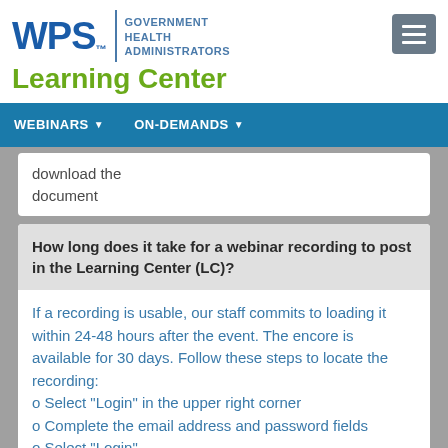[Figure (logo): WPS Government Health Administrators logo with Learning Center text]
WEBINARS ▼   ON-DEMANDS ▼
download the document
How long does it take for a webinar recording to post in the Learning Center (LC)?
If a recording is usable, our staff commits to loading it within 24-48 hours after the event. The encore is available for 30 days. Follow these steps to locate the recording:
o Select "Login" in the upper right corner
o Complete the email address and password fields
o Select "Login"